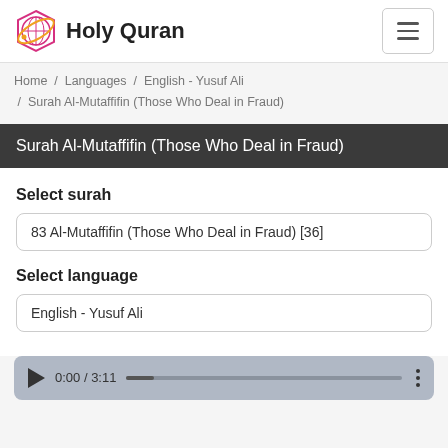Holy Quran
Home / Languages / English - Yusuf Ali / Surah Al-Mutaffifin (Those Who Deal in Fraud)
Surah Al-Mutaffifin (Those Who Deal in Fraud)
Select surah
83 Al-Mutaffifin (Those Who Deal in Fraud) [36]
Select language
English - Yusuf Ali
[Figure (other): Audio player showing 0:00 / 3:11 with play button, progress bar and options menu]